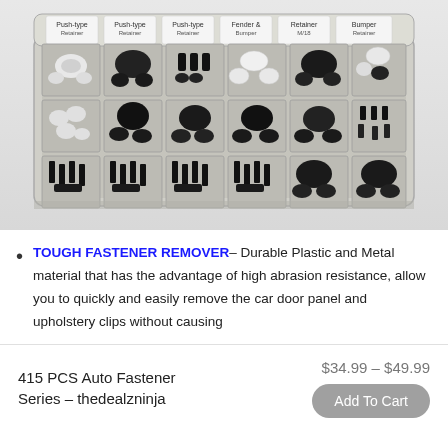[Figure (photo): A clear plastic organizer box with multiple compartments filled with various black and white plastic automotive fasteners, clips, and retainers. The lid is open showing labeled compartments with different types of push-type retainers and fasteners.]
TOUGH FASTENER REMOVER– Durable Plastic and Metal material that has the advantage of high abrasion resistance, allow you to quickly and easily remove the car door panel and upholstery clips without causing
415 PCS Auto Fastener Series - thedealzninja
$34.99 – $49.99
Add To Cart